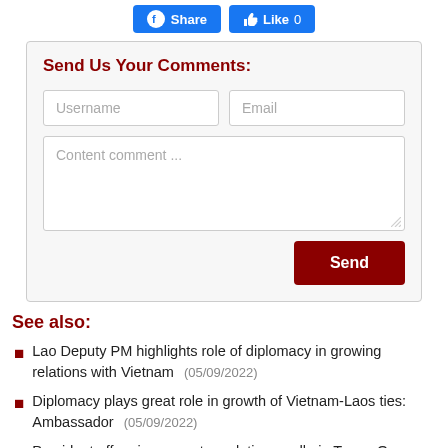[Figure (screenshot): Facebook Share and Like buttons at top of page]
Send Us Your Comments:
Username field, Email field, Content comment textarea, Send button
See also:
Lao Deputy PM highlights role of diplomacy in growing relations with Vietnam (05/09/2022)
Diplomacy plays great role in growth of Vietnam-Laos ties: Ambassador (05/09/2022)
President offers incense at revolution cradle in Tuyen Quang